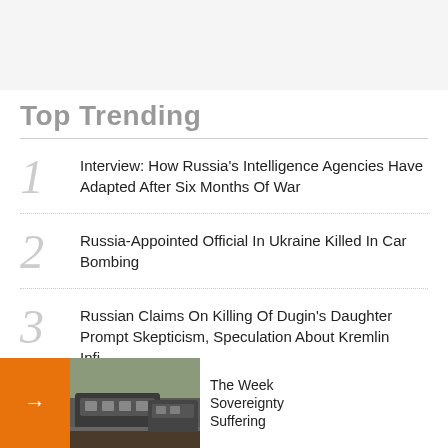Top Trending
Interview: How Russia's Intelligence Agencies Have Adapted After Six Months Of War
Russia-Appointed Official In Ukraine Killed In Car Bombing
Russian Claims On Killing Of Dugin's Daughter Prompt Skepticism, Speculation About Kremlin Infigh[ting]
Hard-Won Unity: Po[land's] Invasion Is Transfor[ming]
The Week Sovereign[ty] Suffering